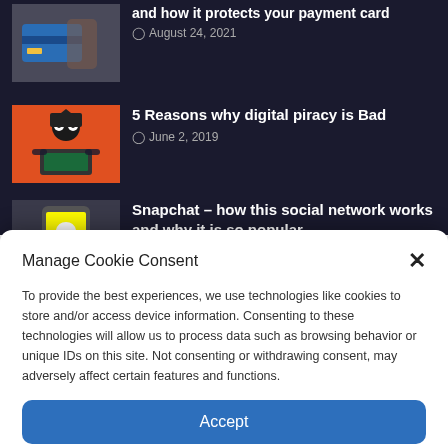and how it protects your payment card
August 24, 2021
5 Reasons why digital piracy is Bad
June 2, 2019
Snapchat – how this social network works and why it is so popular
Manage Cookie Consent
To provide the best experiences, we use technologies like cookies to store and/or access device information. Consenting to these technologies will allow us to process data such as browsing behavior or unique IDs on this site. Not consenting or withdrawing consent, may adversely affect certain features and functions.
Accept